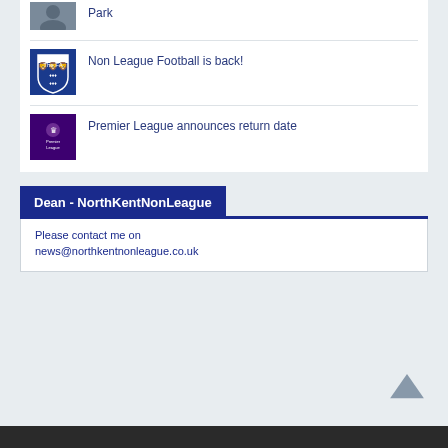[Figure (photo): Partial thumbnail of a person at top of list]
Park
[Figure (logo): The FA logo - blue shield with three lions]
Non League Football is back!
[Figure (logo): Premier League logo - purple/dark background with lion and text]
Premier League announces return date
Dean - NorthKentNonLeague
Please contact me on
news@northkentnonleague.co.uk